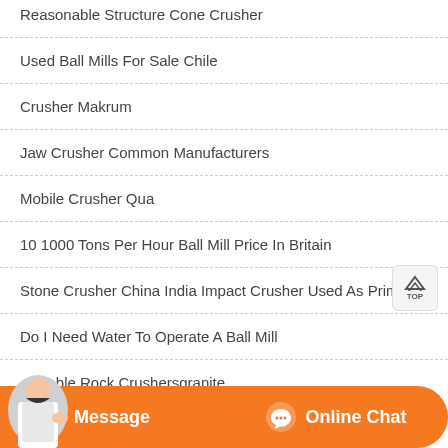Reasonable Structure Cone Crusher
Used Ball Mills For Sale Chile
Crusher Makrum
Jaw Crusher Common Manufacturers
Mobile Crusher Qua
10 1000 Tons Per Hour Ball Mill Price In Britain
Stone Crusher China India Impact Crusher Used As Primary
Do I Need Water To Operate A Ball Mill
Portable Rock Crushersgranite
[Figure (screenshot): Orange chat bar at bottom with Message and Online Chat buttons, and a customer service avatar on the left]